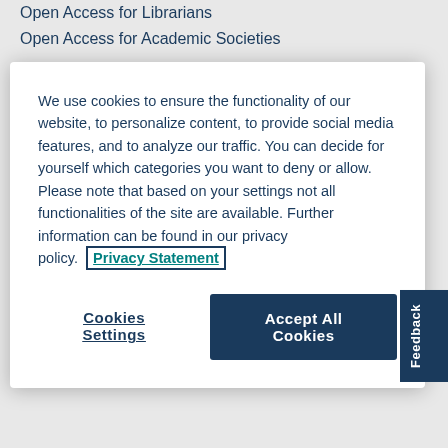Open Access for Librarians
Open Access for Academic Societies
We use cookies to ensure the functionality of our website, to personalize content, to provide social media features, and to analyze our traffic. You can decide for yourself which categories you want to deny or allow. Please note that based on your settings not all functionalities of the site are available. Further information can be found in our privacy policy. Privacy Statement
Cookies Settings
Accept All Cookies
Publishing contacts
FAQ
Stay Updated
Blog
Newsletters